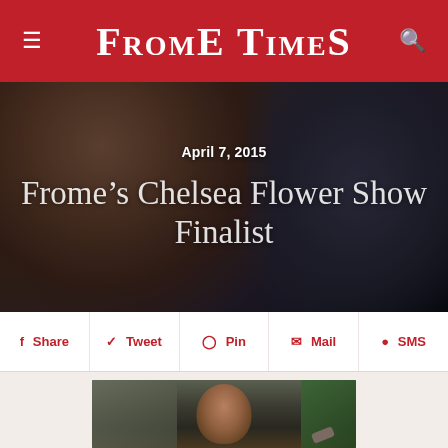Frome Times
[Figure (photo): Hero background: close-up photograph of a bearded man, with another person in dark clothing on the right, forming the background for the article headline.]
April 7, 2015
Frome’s Chelsea Flower Show Finalist
Share  Tweet  Pin  Mail  SMS
[Figure (photo): A man with dark hair and stubble leans on crossed arms toward the camera, with a hammer visible in the background, photographed in a workshop setting with green wall.]